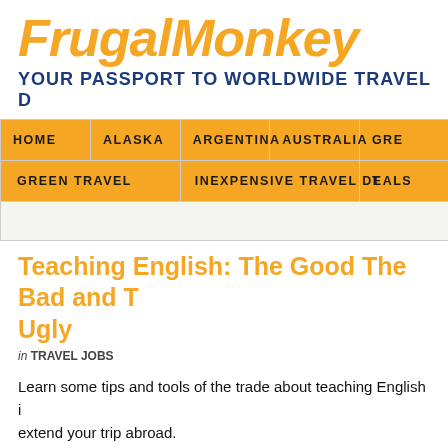FrugalMonkey
YOUR PASSPORT TO WORLDWIDE TRAVEL D
| HOME | ALASKA | ARGENTINA | AUSTRALIA | GRE |
| --- | --- | --- | --- | --- |
| GREEN TRAVEL | INEXPENSIVE TRAVEL DEALS | T |
Teaching English: The Good The Bad and The Ugly
in TRAVEL JOBS
Learn some tips and tools of the trade about teaching English i... extend your trip abroad.
FrugalMonkey is dedicated to showing you how to travel cheap... advantage or find cheap travel deals as well as learn how you ...